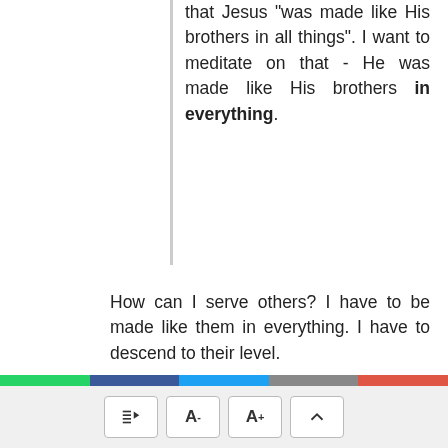that Jesus "was made like His brothers in all things". I want to meditate on that - He was made like His brothers in everything.
How can I serve others? I have to be made like them in everything. I have to descend to their level.
Why is it that I cannot communicate with a little ant crawling on the floor? Because I am too big. If I go to that ant in human form, it will be terrified. The only way I can communicate with that ant is by my becoming like it first of all. The
[Figure (infographic): Social share bar with icons for WhatsApp (green), Facebook (dark blue), Twitter (blue), Email (grey), More (red-orange)]
[Figure (infographic): Bottom toolbar with four buttons: table of contents, A- (decrease font), A+ (increase font), and scroll-to-top arrow]